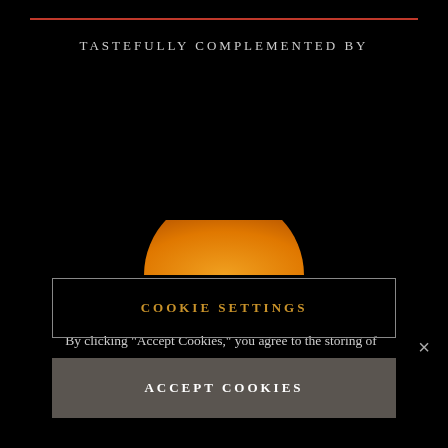TASTEFULLY COMPLEMENTED BY
[Figure (illustration): Orange semicircle (sun) graphic on black background]
By clicking "Accept Cookies," you agree to the storing of cookies on your device to enhance site navigation and assist in our marketing efforts. For more information, visit our Privacy Policy.
COOKIE SETTINGS
ACCEPT COOKIES